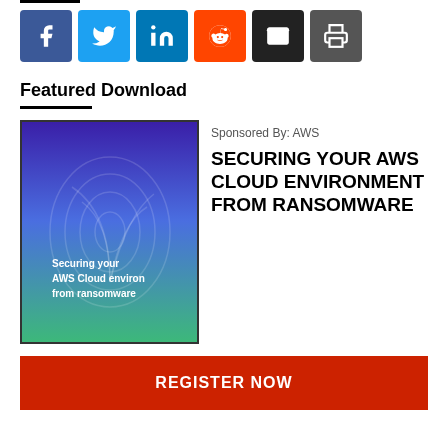[Figure (infographic): Row of six social sharing buttons: Facebook (blue), Twitter (light blue), LinkedIn (dark blue), Reddit (orange), Email (black), Print (dark gray)]
Featured Download
[Figure (illustration): Book cover with gradient from purple/blue at top to green at bottom, with fingerprint arc pattern overlay. Text reads: Securing your AWS Cloud environment from ransomware]
Sponsored By: AWS
SECURING YOUR AWS CLOUD ENVIRONMENT FROM RANSOMWARE
REGISTER NOW